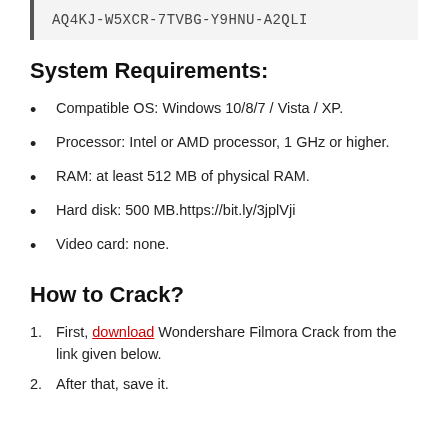AQ4KJ-W5XCR-7TVBG-Y9HNU-A2QLI
System Requirements:
Compatible OS: Windows 10/8/7 / Vista / XP.
Processor: Intel or AMD processor, 1 GHz or higher.
RAM: at least 512 MB of physical RAM.
Hard disk: 500 MB.https://bit.ly/3jplVji
Video card: none.
How to Crack?
First, download Wondershare Filmora Crack from the link given below.
After that, save it.